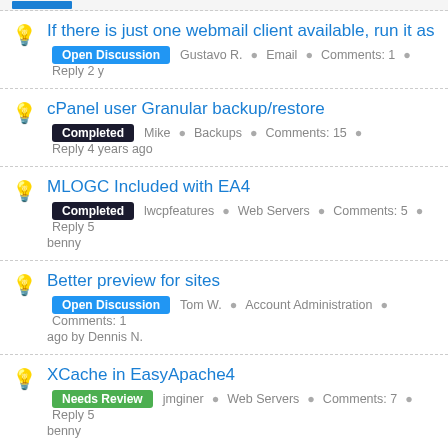If there is just one webmail client available, run it as defa — Open Discussion · Gustavo R. · Email · Comments: 1 · Reply 2 y
cPanel user Granular backup/restore — Completed · Mike · Backups · Comments: 15 · Reply 4 years ago
MLOGC Included with EA4 — Completed · lwcpfeatures · Web Servers · Comments: 5 · Reply 5 · benny
Better preview for sites — Open Discussion · Tom W. · Account Administration · Comments: 1 · ago by Dennis N.
XCache in EasyApache4 — Needs Review · jmginer · Web Servers · Comments: 7 · Reply 5 · benny
mod_xsendfile support